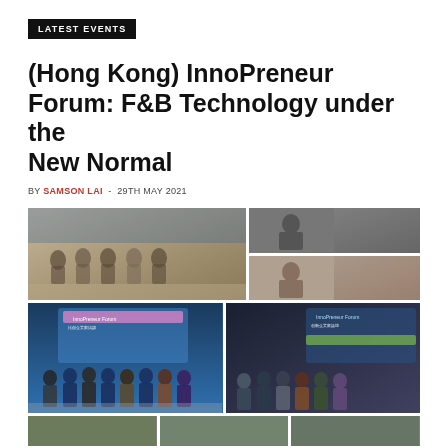LATEST EVENTS
(Hong Kong) InnoPreneur Forum: F&B Technology under the New Normal
BY SAMSON LAI - 29TH MAY 2021
[Figure (photo): Grid of event photos from InnoPreneur Forum showing panelists on stage, group photos with masks, and audience/speaker shots.]